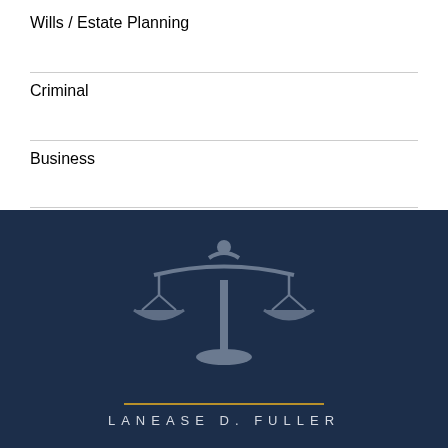Wills / Estate Planning
Criminal
Business
[Figure (logo): Scales of justice logo with gold horizontal rule and firm name 'LANEASE D. FULLER' on dark navy background]